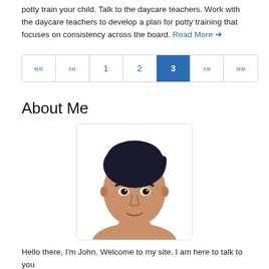potty train your child. Talk to the daycare teachers. Work with the daycare teachers to develop a plan for potty training that focuses on consistency across the board. Read More →
[Figure (other): Pagination control showing pages: «« « 1 2 [3] » »»]
About Me
[Figure (illustration): Cartoon/illustrated portrait of a young man with dark hair, brown eyes, and a slight smile, shown from the shoulders up against a white background.]
Hello there, I'm John. Welcome to my site. I am here to talk to you